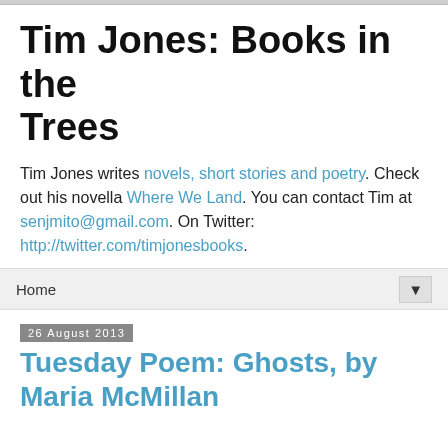Tim Jones: Books in the Trees
Tim Jones writes novels, short stories and poetry. Check out his novella Where We Land. You can contact Tim at senjmito@gmail.com. On Twitter: http://twitter.com/timjonesbooks.
Home
26 August 2013
Tuesday Poem: Ghosts, by Maria McMillan
I have seen ghosts
sliding under the surface,
little thin flitting...